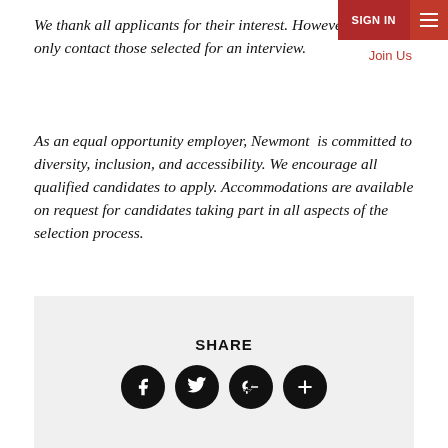SIGN IN  ≡
Join Us
We thank all applicants for their interest. However, we will only contact those selected for an interview.
As an equal opportunity employer, Newmont  is committed to diversity, inclusion, and accessibility. We encourage all qualified candidates to apply. Accommodations are available on request for candidates taking part in all aspects of the selection process.
SHARE